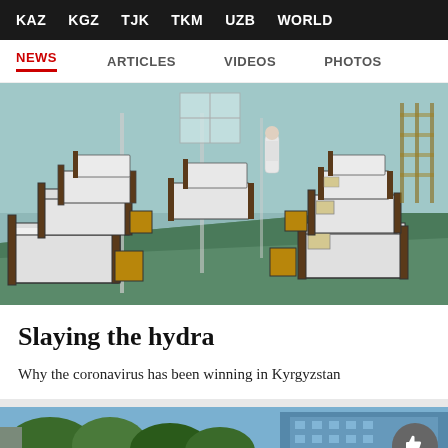KAZ  KGZ  TJK  TKM  UZB  WORLD
NEWS  ARTICLES  VIDEOS  PHOTOS
[Figure (photo): Hospital ward with rows of metal-framed beds covered with white sheets, arranged in a large gymnasium-like room with pale blue walls and green floor. A person in white protective gear stands in the background.]
Slaying the hydra
Why the coronavirus has been winning in Kyrgyzstan
[Figure (photo): Partial view of a building with trees in the foreground, timestamp 21.07 visible.]